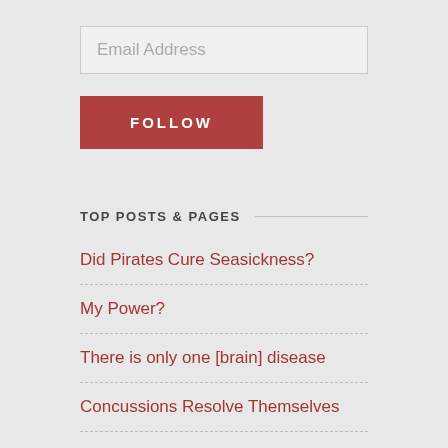Email Address
FOLLOW
TOP POSTS & PAGES
Did Pirates Cure Seasickness?
My Power?
There is only one [brain] disease
Concussions Resolve Themselves
Rethinking Home Field Advantage